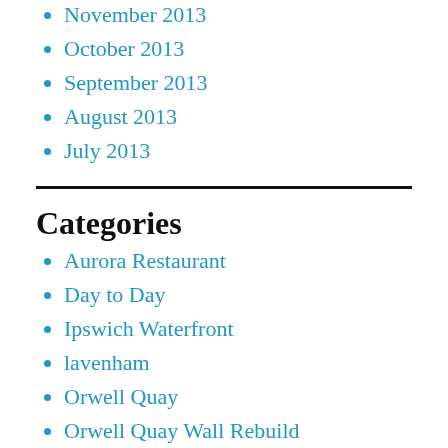November 2013
October 2013
September 2013
August 2013
July 2013
Categories
Aurora Restaurant
Day to Day
Ipswich Waterfront
lavenham
Orwell Quay
Orwell Quay Wall Rebuild
Uncategorized